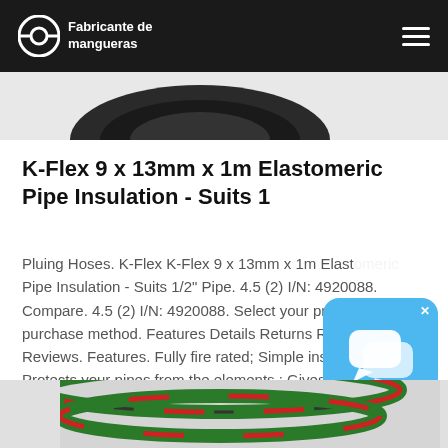Fabricante de mangueras
[Figure (photo): Partial view of a product (hose or pipe fitting) at the top of the page]
K-Flex 9 x 13mm x 1m Elastomeric Pipe Insulation - Suits 1
Pluing Hoses. K-Flex K-Flex 9 x 13mm x 1m Elastomeric Pipe Insulation - Suits 1/2" Pipe. 4.5 (2) I/N: 4920088. Compare. 4.5 (2) I/N: 4920088. Select your preferred purchase method. Features Details Returns Ratings & Reviews. Features. Fully fire rated; Simple installation ; Protects your pipes from the elements ; Gives excellent condensation control; K-Flex ...
[Figure (screenshot): Chat widget icon (speech bubbles) with blue background and close button]
[Figure (photo): Partial view of a coiled hose product at the bottom of the page]